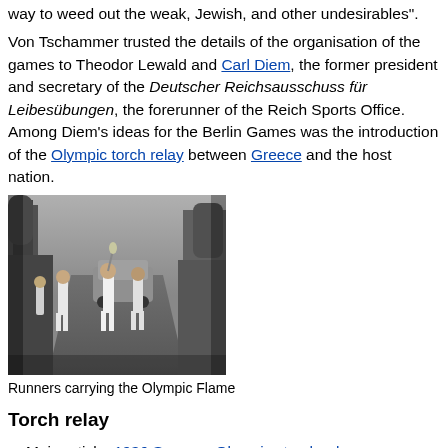way to weed out the weak, Jewish, and other undesirables.
Von Tschammer trusted the details of the organisation of the games to Theodor Lewald and Carl Diem, the former president and secretary of the Deutscher Reichsausschuss für Leibesübungen, the forerunner of the Reich Sports Office. Among Diem's ideas for the Berlin Games was the introduction of the Olympic torch relay between Greece and the host nation.
[Figure (photo): Black and white photograph of runners carrying the Olympic Flame during the 1936 torch relay, running down a road lined with trees and spectators, with a vehicle visible in the background.]
Runners carrying the Olympic Flame
Torch relay
Main article: 1936 Summer Olympics torch relay
The 1936 Summer Olympics torch relay was the first of its kind, [13] following from the introduction of the Olympic Flame...